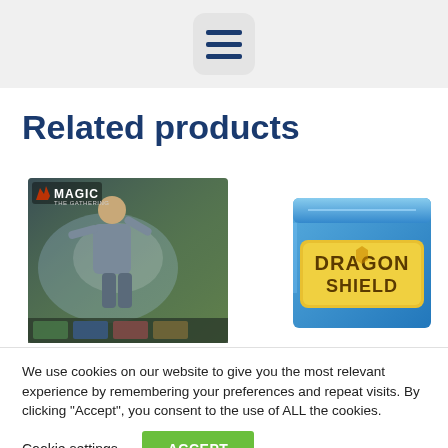[Figure (illustration): Hamburger menu icon in a rounded square box on a grey header bar]
Related products
[Figure (photo): Magic: The Gathering booster box product image showing a character with magical powers]
[Figure (photo): Dragon Shield card sleeve box product in blue and yellow]
We use cookies on our website to give you the most relevant experience by remembering your preferences and repeat visits. By clicking “Accept”, you consent to the use of ALL the cookies.
Cookie settings
ACCEPT